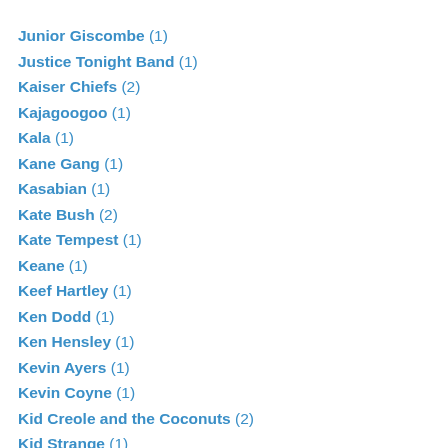Junior (1)
Junior Giscombe (1)
Justice Tonight Band (1)
Kaiser Chiefs (2)
Kajagoogoo (1)
Kala (1)
Kane Gang (1)
Kasabian (1)
Kate Bush (2)
Kate Tempest (1)
Keane (1)
Keef Hartley (1)
Ken Dodd (1)
Ken Hensley (1)
Kevin Ayers (1)
Kevin Coyne (1)
Kid Creole and the Coconuts (2)
Kid Strange (1)
Kieran Goss (1)
Kieth Christmas (1)